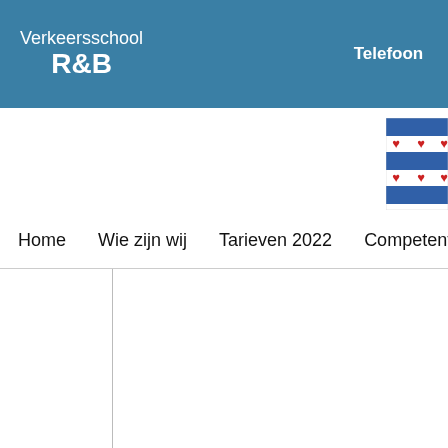Verkeersschool R&B  Telefoon
[Figure (illustration): Frisian flag (blue and white diagonal stripes with red heart shapes) partially visible in upper right]
Home   Wie zijn wij   Tarieven 2022   Competenties